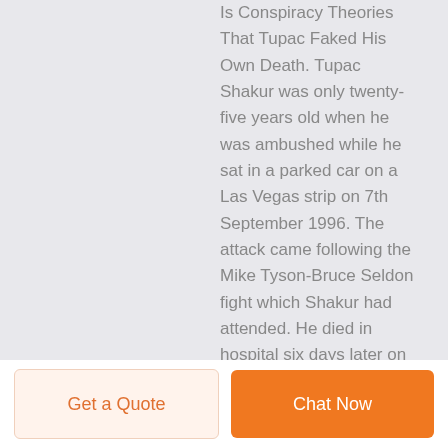Is Conspiracy Theories That Tupac Faked His Own Death. Tupac Shakur was only twenty-five years old when he was ambushed while he sat in a parked car on a Las Vegas strip on 7th September 1996. The attack came following the Mike Tyson-Bruce Seldon fight which Shakur had attended. He died in hospital six days later on 13th September.
Get a Quote
Chat Now